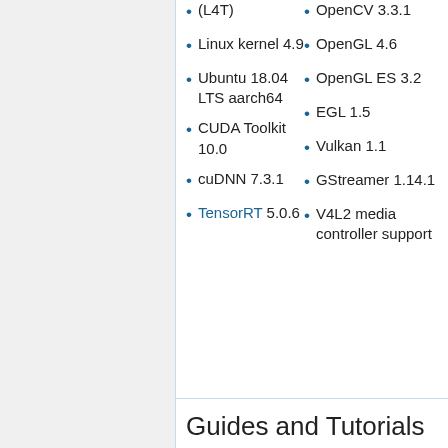(L4T)
Linux kernel 4.9
Ubuntu 18.04 LTS aarch64
CUDA Toolkit 10.0
cuDNN 7.3.1
TensorRT 5.0.6
OpenCV 3.3.1
OpenGL 4.6
OpenGL ES 3.2
EGL 1.5
Vulkan 1.1
GStreamer 1.14.1
V4L2 media controller support
Guides and Tutorials